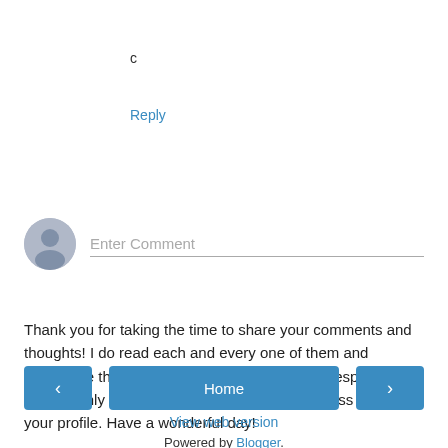c
Reply
[Figure (illustration): User avatar placeholder circle with generic person silhouette, next to an 'Enter Comment' input field with bottom border]
Thank you for taking the time to share your comments and thoughts! I do read each and every one of them and appreciate them all! I would love to be able to respond back, but can only do so if you have your email address linked to your profile. Have a wonderful day!
[Figure (infographic): Navigation buttons row: left arrow button, Home button, right arrow button]
View web version
Powered by Blogger.